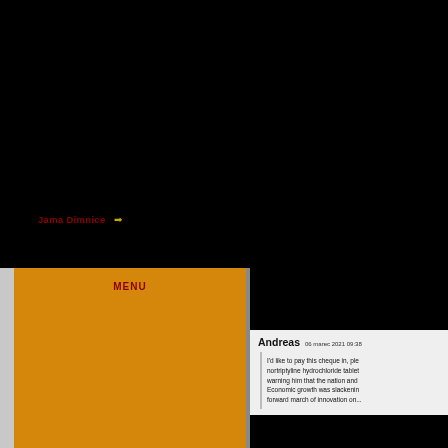Jama Dimnice →
MENU
Andreas   06 marec 2021 09:38
I'd like to pay this cheque in, ple... nortriptyline hydrochloride table... warning him that the nation and... Economic growth was slackenin... forward march of innovation on...